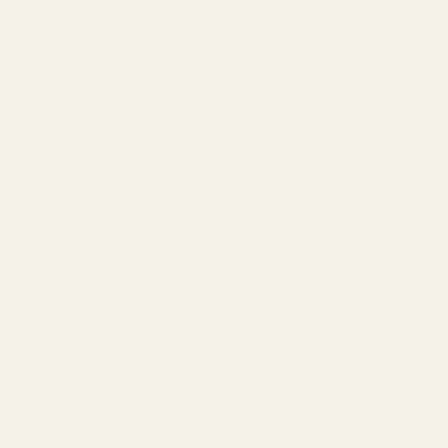The 1989 CBC Massey Lectures, “The Real World of Technology” - Home, Part 2
—Huffduffed by rianmurnen on February 14th, 2018
The 1989 CBC Massey Lectures, “The Real World of Technology” - Home, Part 2
—Huffduffed by tkadlec on March 5th, 2018
The 1989 CBC Massey Lectures, “The Real World of Technology” - Home, Part 2
—Huffduffed by thepru on June 16th, 2019
Possibly related...
Share
| Label | Value |
| --- | --- |
| Embed: | <audio class="u-audio" src="http://thumbn |
| Link: | <a href="https://huffduffer.com/cato/6134 |